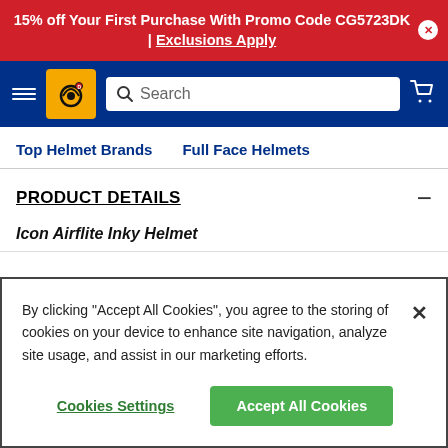15% off Your First Purchase With Promo Code CG5723DK | Exclusions Apply
[Figure (screenshot): Navigation bar with hamburger menu, Discount Drug Mart logo, search bar, and cart icon on dark blue background]
Top Helmet Brands   Full Face Helmets
PRODUCT DETAILS
Icon Airflite Inky Helmet
By clicking "Accept All Cookies", you agree to the storing of cookies on your device to enhance site navigation, analyze site usage, and assist in our marketing efforts.
Cookies Settings
Accept All Cookies